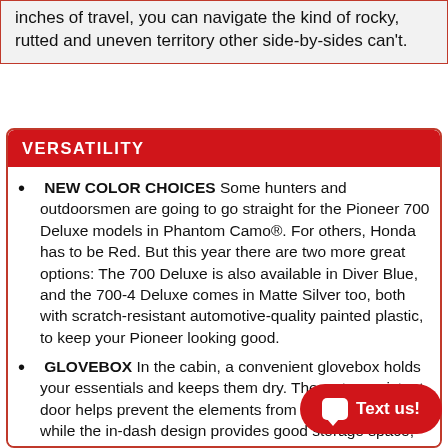inches of travel, you can navigate the kind of rocky, rutted and uneven territory other side-by-sides can't.
VERSATILITY
NEW COLOR CHOICES Some hunters and outdoorsmen are going to go straight for the Pioneer 700 Deluxe models in Phantom Camo®. For others, Honda has to be Red. But this year there are two more great options: The 700 Deluxe is also available in Diver Blue, and the 700-4 Deluxe comes in Matte Silver too, both with scratch-resistant automotive-quality painted plastic, to keep your Pioneer looking good.
GLOVEBOX In the cabin, a convenient glovebox holds your essentials and keeps them dry. The water-resistant door helps prevent the elements from getting inside, while the in-dash design provides good storage space, without compromising on passenger legroom.
DOUBLE-LATCH DOORS Knowing your side-by-side built with safety in mind makes adventure that much more fun. Our hard doors